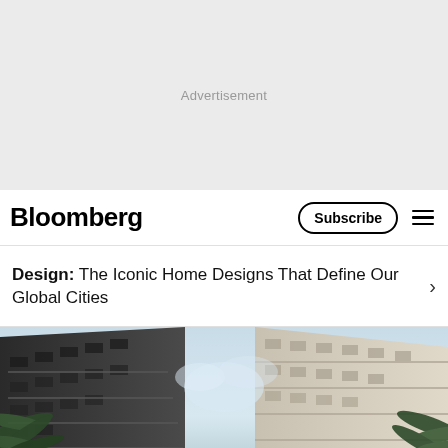[Figure (other): Gray advertisement placeholder area with the text 'Advertisement' centered]
Bloomberg  Subscribe ≡
Design:  The Iconic Home Designs That Define Our Global Cities
[Figure (photo): Street-level photograph looking up at apartment buildings with balconies and palm trees on either side, sky visible in the middle]